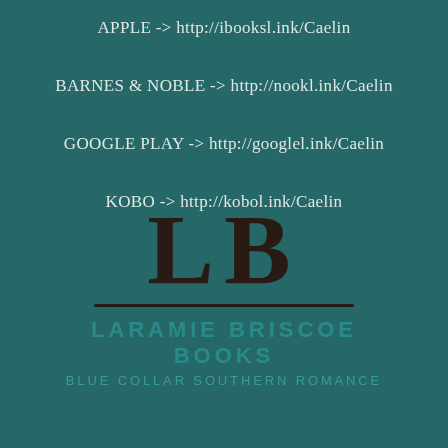APPLE -> http://ibooksl.ink/Caelin
BARNES & NOBLE -> http://nookl.ink/Caelin
GOOGLE PLAY -> http://googlel.ink/Caelin
KOBO -> http://kobol.ink/Caelin
[Figure (logo): Laramie Briscoe Books logo: large 'LB' letters in dark brown with underline, followed by 'LARAMIE BRISCOE BOOKS' in teal and 'BLUE COLLAR SOUTHERN ROMANCE' tagline]